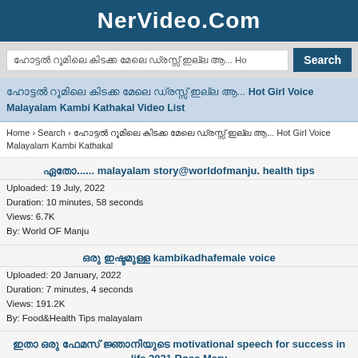NerVideo.Com
ഹോട്ടൽ റൂമിലെ കിടക്ക മേലെ ഡ്രസ്സ് ഇല്ല ആ... Ho Search
ഹോട്ടൽ റൂമിലെ കിടക്ക മേലെ ഡ്രസ്സ് ഇല്ല ആ... Hot Girl Voice Malayalam Kambi Kathakal Video List
Home › Search › ഹോട്ടൽ റൂമിലെ കിടക്ക മേലെ ഡ്രസ്സ് ഇല്ല ആ... Hot Girl Voice Malayalam Kambi Kathakal
ഏതോ...... malayalam story@worldofmanju. health tips
Uploaded: 19 July, 2022
Duration: 10 minutes, 58 seconds
Views: 6.7K
By: World OF Manju
ഒരു ഇഷ്ടമുള്ള kambikadhafemale voice
Uploaded: 20 January, 2022
Duration: 7 minutes, 4 seconds
Views: 191.2K
By: Food&Health Tips malayalam
ഇതാ ഒരു ഫേമസ് ജ്ഞാനിയുടെ motivational speech for success in life 2021 Rose Mary
Uploaded: 21 November, 2021
Duration: 8 minutes, 39 seconds